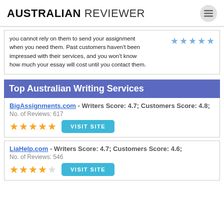AUSTRALIAN REVIEWER
you cannot rely on them to send your assignment when you need them. Past customers haven't been impressed with their services, and you won't know how much your essay will cost until you contact them.
Top Australian Writing Services
BigAssignments.com - Writers Score: 4.7; Customers Score: 4.8; No. of Reviews: 617
LiaHelp.com - Writers Score: 4.7; Customers Score: 4.6; No. of Reviews: 546